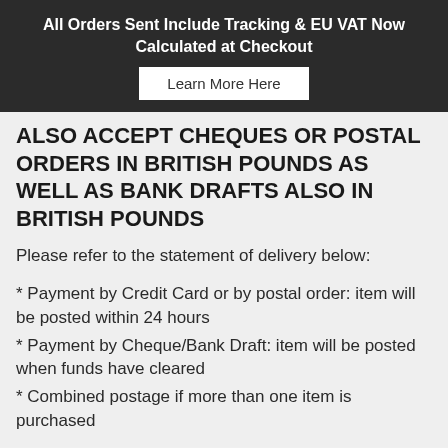All Orders Sent Include Tracking & EU VAT Now Calculated at Checkout
ALSO ACCEPT CHEQUES OR POSTAL ORDERS IN BRITISH POUNDS AS WELL AS BANK DRAFTS ALSO IN BRITISH POUNDS
Please refer to the statement of delivery below:
* Payment by Credit Card or by postal order: item will be posted within 24 hours
* Payment by Cheque/Bank Draft: item will be posted when funds have cleared
* Combined postage if more than one item is purchased